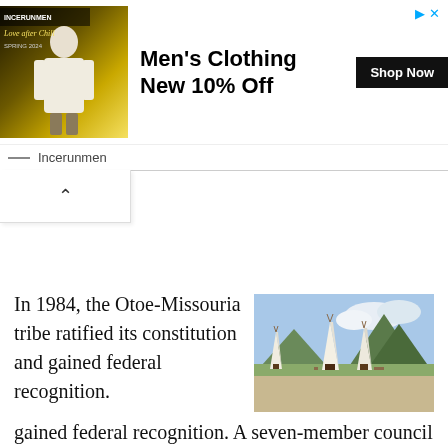[Figure (other): Online advertisement banner for Incerunmen men's clothing showing a man in white jacket with text 'Men's Clothing New 10% Off' and 'Shop Now' button]
[Figure (photo): Photograph of three white teepee/tipi tents in an open field with mountains and blue sky in the background]
In 1984, the Otoe-Missouria tribe ratified its constitution and gained federal recognition. A seven-member council governs the tribe and administers housing, health and education services. The